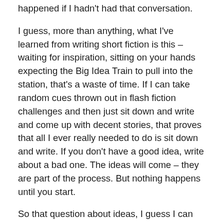happened if I hadn't had that conversation.
I guess, more than anything, what I've learned from writing short fiction is this – waiting for inspiration, sitting on your hands expecting the Big Idea Train to pull into the station, that's a waste of time. If I can take random cues thrown out in flash fiction challenges and then just sit down and write and come up with decent stories, that proves that all I ever really needed to do is sit down and write. If you don't have a good idea, write about a bad one. The ideas will come – they are part of the process. But nothing happens until you start.
So that question about ideas, I guess I can answer it. Ideas come from writing. Writers write. Wannabe writers look for excuses not to. Not having an idea is just one more excuse.